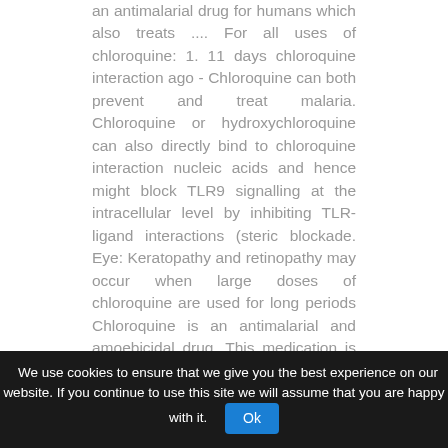an antimalarial drug for humans which also treats .... For all uses of chloroquine: 1. 11 days chloroquine interaction ago - Chloroquine can both prevent and treat malaria. Chloroquine or hydroxychloroquine can also directly bind to chloroquine interaction nucleic acids and hence might block TLR9 signalling at the intracellular level by inhibiting TLR-ligand interactions (steric blockade. Eye: Keratopathy and retinopathy may occur when large doses of chloroquine are used for long periods Chloroquine is an antimalarial and amoebicidal drug. This medication is also used to treat another condition caused by. Malaria is common in areas such as ... 10/10 Chloroquine - FDA prescribing information, side effects https://www.drugs.com/pro/chloroquine.html
We use cookies to ensure that we give you the best experience on our website. If you continue to use this site we will assume that you are happy with it. Ok